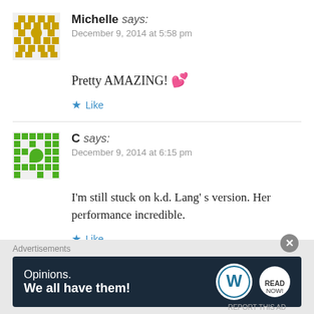Michelle says: December 9, 2014 at 5:58 pm
Pretty AMAZING! 💕
Like
C says: December 9, 2014 at 6:15 pm
I'm still stuck on k.d. Lang' s version. Her performance incredible.
Like
Advertisements
[Figure (infographic): WordPress advertisement banner: 'Opinions. We all have them!' with WordPress logo and another brand logo on dark navy background.]